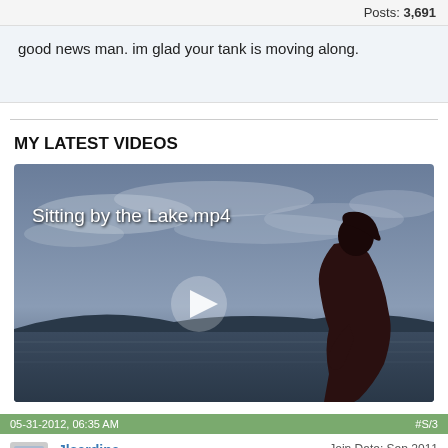Posts: 3,691
good news man. im glad your tank is moving along.
MY LATEST VIDEOS
[Figure (screenshot): Video thumbnail showing a person sitting by a lake with text 'Sitting by the Lake.mp4' and a play button overlay]
05-31-2012, 06:35 AM   #S/3
Join Date: Sep 2011
Location: SW Florida
Jlsardina